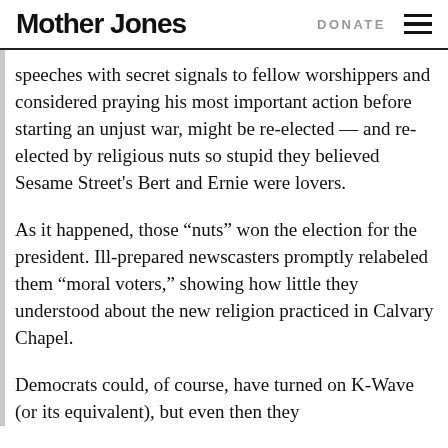Mother Jones | DONATE
speeches with secret signals to fellow worshippers and considered praying his most important action before starting an unjust war, might be re-elected — and re-elected by religious nuts so stupid they believed Sesame Street's Bert and Ernie were lovers.
As it happened, those “nuts” won the election for the president. Ill-prepared newscasters promptly relabeled them “moral voters,” showing how little they understood about the new religion practiced in Calvary Chapel.
Democrats could, of course, have turned on K-Wave (or its equivalent), but even then they